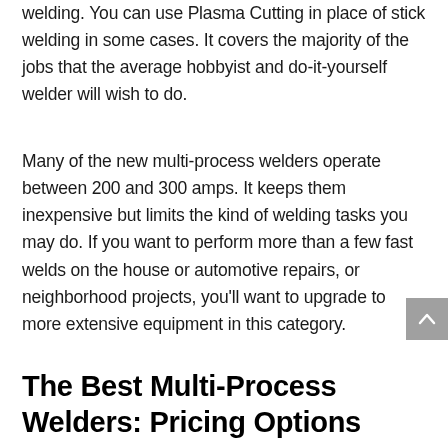welding. You can use Plasma Cutting in place of stick welding in some cases. It covers the majority of the jobs that the average hobbyist and do-it-yourself welder will wish to do.
Many of the new multi-process welders operate between 200 and 300 amps. It keeps them inexpensive but limits the kind of welding tasks you may do. If you want to perform more than a few fast welds on the house or automotive repairs, or neighborhood projects, you'll want to upgrade to more extensive equipment in this category.
The Best Multi-Process Welders: Pricing Options